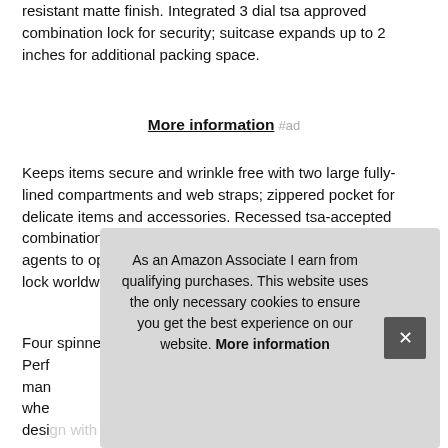resistant matte finish. Integrated 3 dial tsa approved combination lock for security; suitcase expands up to 2 inches for additional packing space.
More information #ad
Keeps items secure and wrinkle free with two large fully-lined compartments and web straps; zippered pocket for delicate items and accessories. Recessed tsa-accepted combination lock provides secure travel and allows only TSA agents to open and inspect your bag without damaging the lock worldwide limited 10 year warranty.
Four spinner wheels assuring a stable base with multi-dire[ctional movement...] Perf[ect for travel...] ma[nufacturer...] whe[els...] desi[gn...with polycarbonate material with the exterior. Any
As an Amazon Associate I earn from qualifying purchases. This website uses the only necessary cookies to ensure you get the best experience on our website. More information